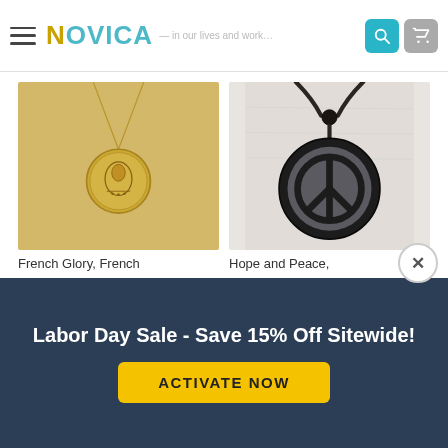NOVICA — in our lives and work...
[Figure (photo): Gold coin pendant necklace with decorative motif on gold chain]
[Figure (photo): Dark obsidian/hematite peace sign pendant on black leather cord]
French Glory, French
Hope and Peace,
Labor Day Sale - Save 15% Off Sitewide!
ACTIVATE NOW